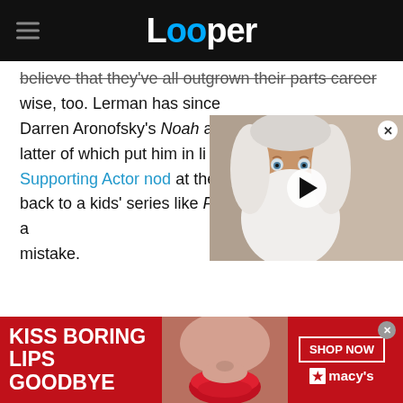Looper
believe that they've all outgrown their parts career wise, too. Lerman has since Darren Aronofsky's Noah an latter of which put him in li Supporting Actor nod at the back to a kids' series like Percy Jackson would be a mistake.
[Figure (photo): Video thumbnail showing an elderly man with long white beard and hair, with a play button overlay]
[Figure (photo): Macy's advertisement banner: KISS BORING LIPS GOODBYE with a woman's face wearing red lipstick, SHOP NOW button and Macy's star logo]